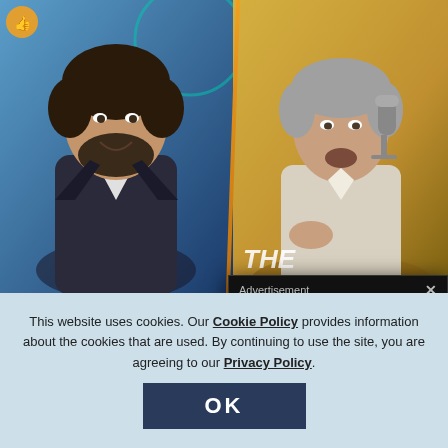[Figure (screenshot): Two video thumbnails side by side: left shows a dark-haired man in a suit jacket smiling against a blue background; right shows an older man in a light shirt speaking into a microphone against a golden/yellow background with 'THE' text visible]
[Figure (screenshot): FunPay advertisement banner with logo and text 'CHEAP ... 24/7 SU...' on dark teal background]
[Figure (screenshot): Advertisement popup overlay with dark header bar reading 'Advertisement' and orange content area with 'Most Popular Products' and 'pdated Weekly!' text and product icons]
This website uses cookies. Our Cookie Policy provides information about the cookies that are used. By continuing to use the site, you are agreeing to our Privacy Policy.